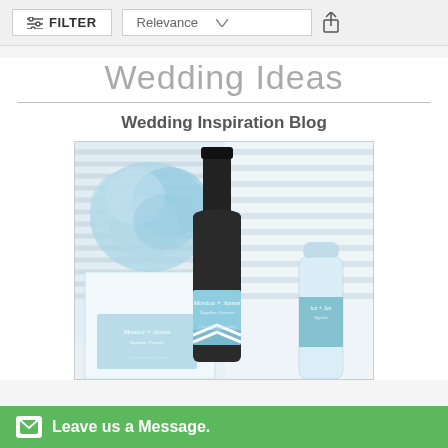FILTER   Relevance
Wedding Ideas
Wedding Inspiration Blog
[Figure (photo): Wedding gift bag with blue tulle ribbon, a dark wine bottle with a custom label reading 'Monica + James Together Forever', a matching water bottle with chevron pattern label, all in light blue/teal and white color scheme.]
Leave us a Message.